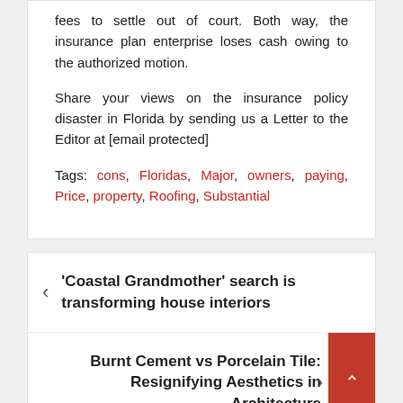fees to settle out of court. Both way, the insurance plan enterprise loses cash owing to the authorized motion.
Share your views on the insurance policy disaster in Florida by sending us a Letter to the Editor at [email protected]
Tags: cons, Floridas, Major, owners, paying, Price, property, Roofing, Substantial
‹ ‘Coastal Grandmother’ search is transforming house interiors
Burnt Cement vs Porcelain Tile: Resignifying Aesthetics in Architecture ›
Search...